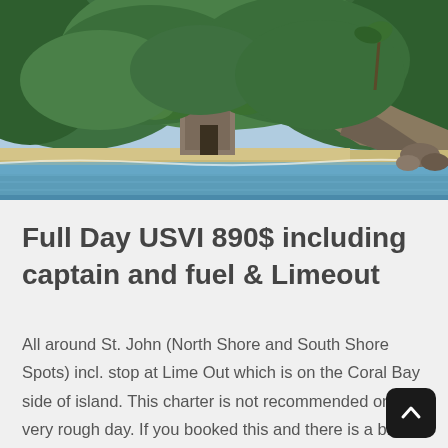[Figure (photo): Coastal scene with a stone ruin structure on a narrow beach, backed by dense green tropical hillside. Blue-green water in foreground, rocky cliffs and palm trees in background.]
Full Day USVI 890$ including captain and fuel & Limeout
All around St. John (North Shore and South Shore Spots) incl. stop at Lime Out which is on the Coral Bay side of island. This charter is not recommended on a very rough day. If you booked this and there is a big swell / strong winds maki...